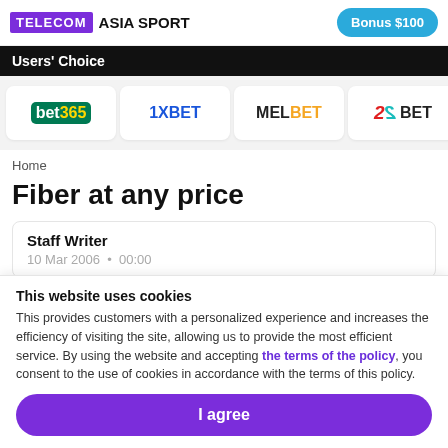TELECOM ASIA SPORT | Bonus $100
Users' Choice
[Figure (logo): Bookmaker logos: bet365, 1XBET, MELBET, 22BET]
Home
Fiber at any price
Staff Writer
10 Mar 2006 • 00:00
This website uses cookies
This provides customers with a personalized experience and increases the efficiency of visiting the site, allowing us to provide the most efficient service. By using the website and accepting the terms of the policy, you consent to the use of cookies in accordance with the terms of this policy.
I agree